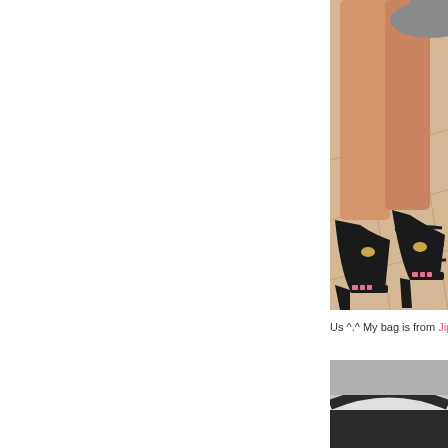[Figure (photo): Close-up photo of a person's legs and feet wearing black strappy high-heel sandals with gold accents, standing on beige floor tiles]
Us ^.^ My bag is from Jip
[Figure (photo): Partial photo showing a gray circular base or furniture piece against a light background, cropped at bottom of page]